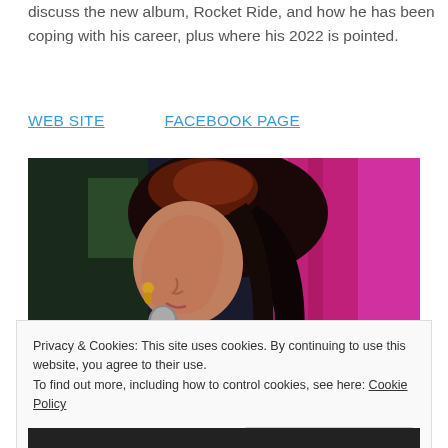discuss the new album, Rocket Ride, and how he has been coping with his career, plus where his 2022 is pointed.
WEB SITE    FACEBOOK PAGE
[Figure (photo): A woman with long dark auburn hair singing into a microphone, photographed in profile against a bright pink/magenta curtain background.]
Privacy & Cookies: This site uses cookies. By continuing to use this website, you agree to their use.
To find out more, including how to control cookies, see here: Cookie Policy
Close and accept